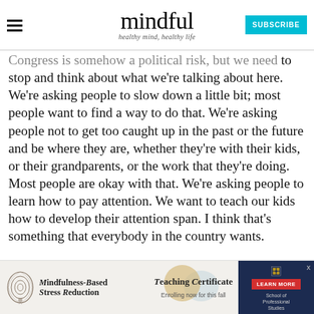mindful — healthy mind, healthy life
Congress is somehow a political risk, but we need to stop and think about what we're talking about here. We're asking people to slow down a little bit; most people want to find a way to do that. We're asking people not to get too caught up in the past or the future and be where they are, whether they're with their kids, or their grandparents, or the work that they're doing. Most people are okay with that. We're asking people to learn how to pay attention. We want to teach our kids how to develop their attention span. I think that's something that everybody in the country wants.
[Figure (advertisement): Ad banner for Mindfulness-Based Stress Reduction Teaching Certificate course, with a 'Learn More' button and School of Professional Studies logo]